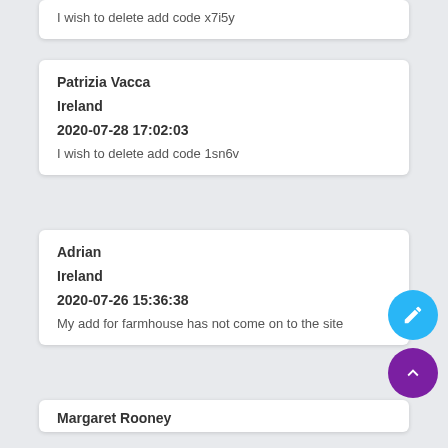I wish to delete add code x7i5y
Patrizia Vacca
Ireland
2020-07-28 17:02:03
I wish to delete add code 1sn6v
Adrian
Ireland
2020-07-26 15:36:38
My add for farmhouse has not come on to the site
Margaret Rooney